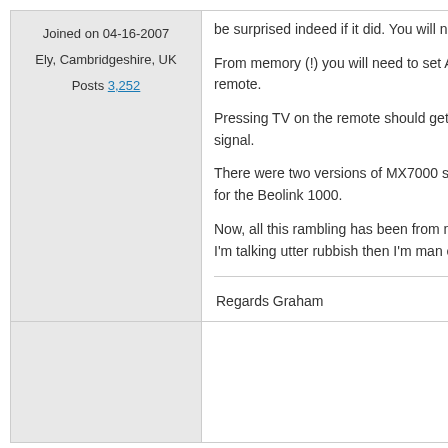Joined on 04-16-2007
Ely, Cambridgeshire, UK
Posts 3,252
be surprised indeed if it did. You will need
From memory (!) you will need to set AV2 t remote.
Pressing TV on the remote should get you signal.
There were two versions of MX7000 softw for the Beolink 1000.
Now, all this rambling has been from mem I'm talking utter rubbish then I'm man enou
Regards Graham
03-19-2009 7:17 PM
Nickyg63
Re: Urgent help needed!! With m